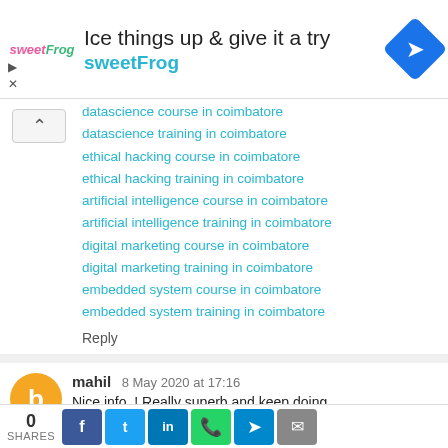[Figure (screenshot): SweetFrog advertisement banner with logo, headline text 'Ice things up & give it a try', brand name 'sweetFrog', and a blue navigation arrow icon]
datascience course in coimbatore
datascience training in coimbatore
ethical hacking course in coimbatore
ethical hacking training in coimbatore
artificial intelligence course in coimbatore
artificial intelligence training in coimbatore
digital marketing course in coimbatore
digital marketing training in coimbatore
embedded system course in coimbatore
embedded system training in coimbatore
Reply
mahil 8 May 2020 at 17:16
Nice info..! Really superb and keep doing.....
Spark Training in Chennai
0 SHARES | Facebook | Twitter | LinkedIn | WhatsApp | Telegram | Email